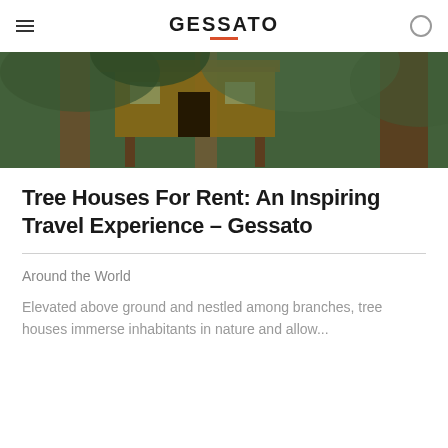GESSATO
[Figure (photo): Aerial view of tree houses nestled among tall redwood trees with lush green foliage]
Tree Houses For Rent: An Inspiring Travel Experience – Gessato
Around the World
Elevated above ground and nestled among branches, tree houses immerse inhabitants in nature and allow...